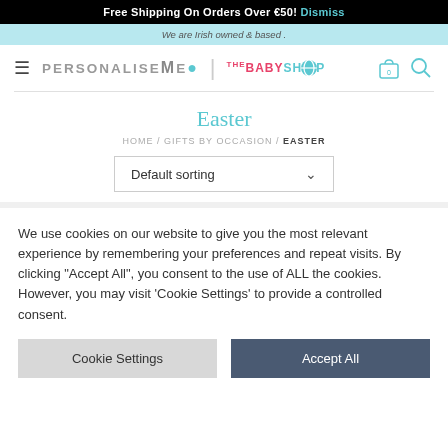Free Shipping On Orders Over €50! Dismiss
We are Irish owned & based .
[Figure (logo): PersonaliseMe and The Baby Shop logos with hamburger menu, cart and search icons]
Easter
HOME / GIFTS BY OCCASION / EASTER
Default sorting
We use cookies on our website to give you the most relevant experience by remembering your preferences and repeat visits. By clicking "Accept All", you consent to the use of ALL the cookies. However, you may visit 'Cookie Settings' to provide a controlled consent.
Cookie Settings   Accept All